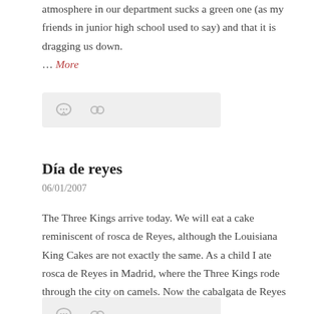atmosphere in our department sucks a green one (as my friends in junior high school used to say) and that it is dragging us down. … More
[Figure (other): Icon bar with comment bubble and link icons on light grey background]
Día de reyes
06/01/2007
The Three Kings arrive today. We will eat a cake reminiscent of rosca de Reyes, although the Louisiana King Cakes are not exactly the same. As a child I ate rosca de Reyes in Madrid, where the Three Kings rode through the city on camels. Now the cabalgata de Reyes is much more multicultural than … More
[Figure (other): Icon bar with comment bubble and link icons on light grey background (partially visible at bottom)]